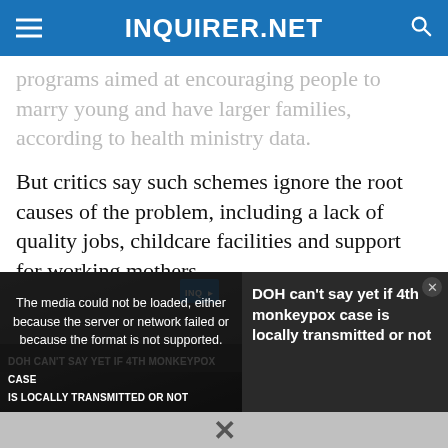INQUIRER.NET
programs aimed at encouraging people to marry young and have larger families, according to health ministry data.
But critics say such schemes ignore the root causes of the problem, including a lack of quality jobs, childcare facilities and support for working mothers.
[Figure (screenshot): Video player showing a news segment about monkeypox. Overlay message: 'The media could not be loaded, either because the server or network failed or because the format is not supported.' Side panel shows title: 'DOH can't say yet if 4th monkeypox case is locally transmitted or not'. Lower video thumbnail text: 'DOH CAN'T SAY YET IF 4TH MONKEYPOX CASE IS LOCALLY TRANSMITTED OR NOT'. Close (X) bar at the bottom.]